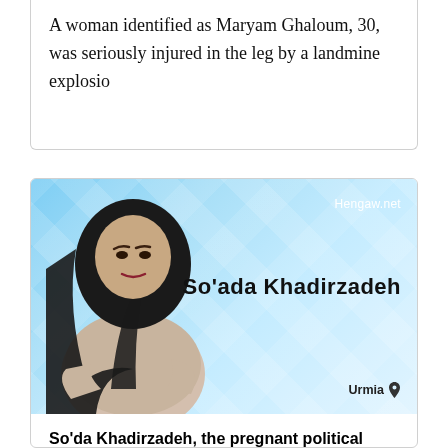A woman identified as Maryam Ghaloun, 30, was seriously injured in the leg by a landmine explosio
[Figure (photo): Photo of So'ada Khadirzadeh, a woman wearing a black hijab and floral top, against a blue geometric background. Text overlays show 'Hengaw.net', 'So'ada Khadirzadeh', and 'Urmia' with a location pin.]
So'da Khadirzadeh, the pregnant political prisoner, ends her hunger strike after her demands have been accepted
So'da Khedirzadeh, a pregnant political prisoner imprisoned in Urmia Prison, ended her strike on Saturday a